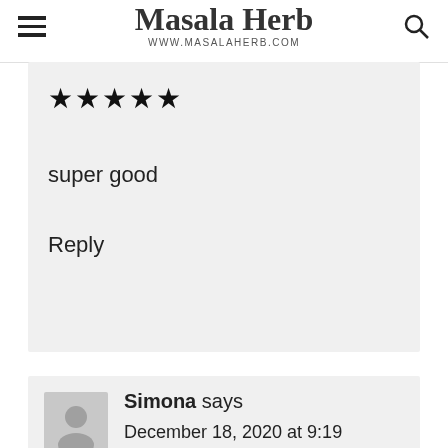Masala Herb — www.MasalaHerb.com
★★★★★
super good
Reply
Simona says
December 18, 2020 at 9:19 am